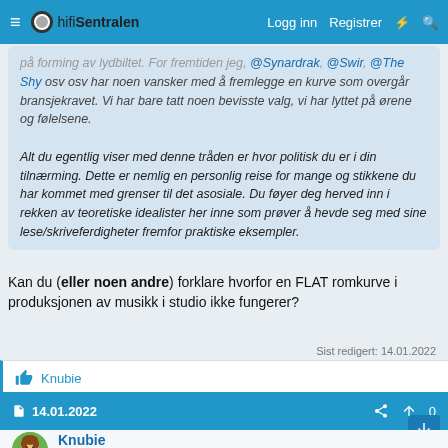hifiSentralen — Logg inn  Registrer
på forming av lydbiltet. For fremtiden jeg, @Synardrak, @Swir, @The Shy osv osv har noen vansker med å fremlegge en kurve som overgår bransjekravet. Vi har bare tatt noen bevisste valg, vi har lyttet på ørene og følelsene.

Alt du egentlig viser med denne tråden er hvor politisk du er i din tilnærming. Dette er nemlig en personlig reise for mange og stikkene du har kommet med grenser til det asosiale. Du føyer deg herved inn i rekken av teoretiske idealister her inne som prøver å hevde seg med sine lese/skriveferdigheter fremfor praktiske eksempler.
Kan du (eller noen andre) forklare hvorfor en FLAT romkurve i produksjonen av musikk i studio ikke fungerer?
Sist redigert: 14.01.2022
Knubie
14.01.2022
Knubie
Hi-Fi freak